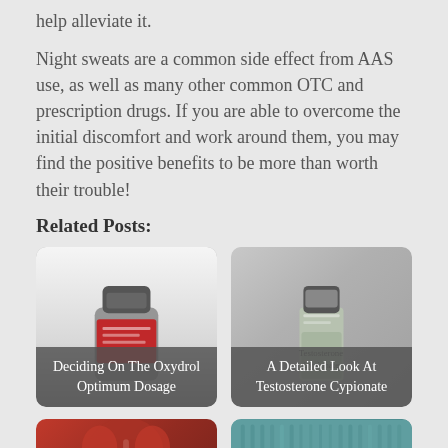help alleviate it.
Night sweats are a common side effect from AAS use, as well as many other common OTC and prescription drugs. If you are able to overcome the initial discomfort and work around them, you may find the positive benefits to be more than worth their trouble!
Related Posts:
[Figure (photo): Card with pill bottle image and overlay text 'Deciding On The Oxydrol Optimum Dosage']
[Figure (photo): Card with medical vial image and overlay text 'A Detailed Look At Testosterone Cypionate']
[Figure (photo): Card with red background showing muscular figure]
[Figure (photo): Card with teal background]